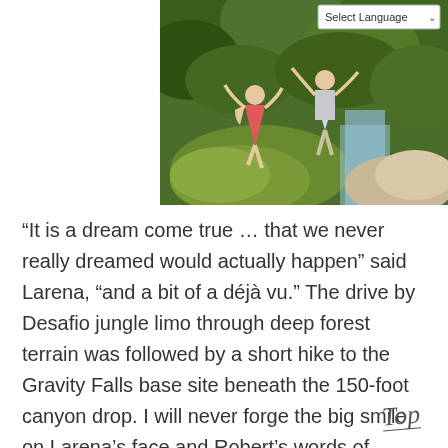[Figure (photo): Two people jumping off a mossy rocky cliff near a waterfall in a lush green jungle/forest setting. One person wears a pink/red dress, the other wears light blue/grey clothing. They appear to be jumping together hand in hand. A waterfall and rocks are visible in the background.]
“It is a dream come true … that we never really dreamed would actually happen” said Larena, “and a bit of a déjà vu.” The drive by Desafio jungle limo through deep forest terrain was followed by a short hike to the Gravity Falls base site beneath the 150-foot canyon drop. I will never forge the big smile on Larena’s face and Robert’s words of appreciation upon arrival at the